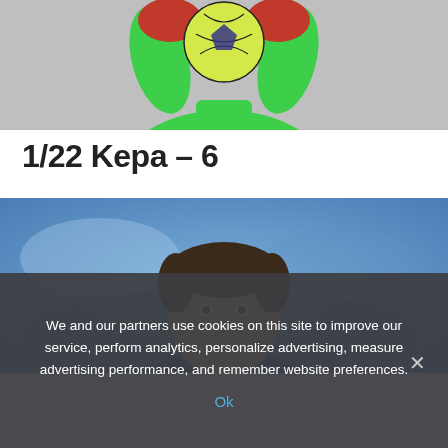[Figure (photo): Goalkeeper in green jersey and red gloves holding a soccer ball, photographed from mid-torso up against a blurred background.]
1/22 Kepa – 6
[Figure (photo): Male soccer player in blue Chelsea jersey, photographed from shoulders up with a blurred stadium background.]
We and our partners use cookies on this site to improve our service, perform analytics, personalize advertising, measure advertising performance, and remember website preferences.